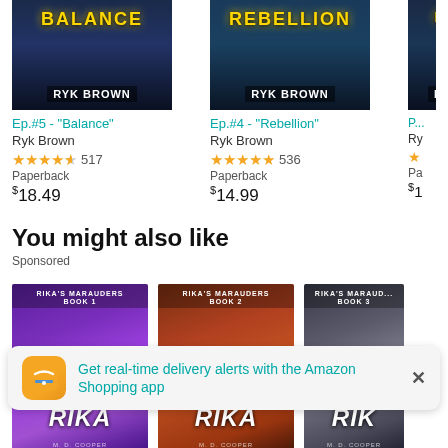[Figure (illustration): Book cover for Ep.#5 Balance by Ryk Brown]
Ep.#5 - "Balance"
Ryk Brown
4.5 stars, 517 reviews, Paperback, $18.49
[Figure (illustration): Book cover for Ep.#4 Rebellion by Ryk Brown]
Ep.#4 - "Rebellion"
Ryk Brown
5 stars, 536 reviews, Paperback, $14.99
[Figure (illustration): Partially visible third book cover]
You might also like
Sponsored
[Figure (illustration): Rika's Marauders book 1 cover - purple]
[Figure (illustration): Rika's Marauders book 2 cover - orange]
[Figure (illustration): Rika's Marauders book 3 cover - gray, partially clipped]
Rika Infiltrator: A Tale
Rika Outcast: A Tale
Rika Conqu...
[Figure (screenshot): Amazon app notification: Get real-time delivery alerts with the Amazon Shopping app]